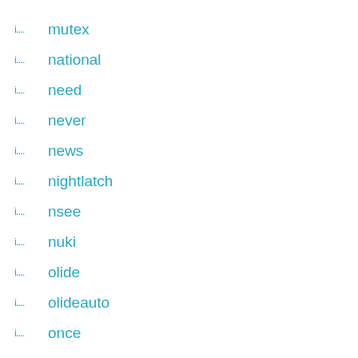mutex
national
need
never
news
nightlatch
nsee
nuki
olide
olideauto
once
osborne